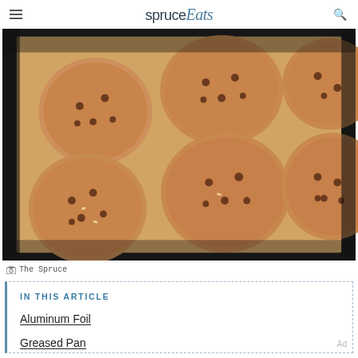spruce Eats
[Figure (photo): Chocolate chip cookies on a parchment-lined dark baking sheet, viewed from above]
© The Spruce
IN THIS ARTICLE
Aluminum Foil
Greased Pan